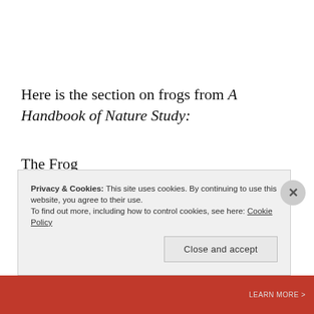Here is the section on frogs from A Handbook of Nature Study:
The Frog
“The stroller along brookside is likely to be surprised
Privacy & Cookies: This site uses cookies. By continuing to use this website, you agree to their use.
To find out more, including how to control cookies, see here: Cookie Policy
Close and accept